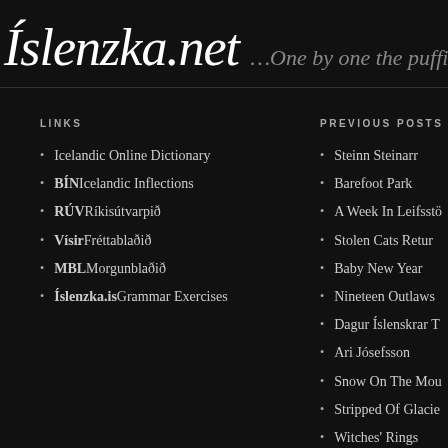Íslenzka.net …One by one the puffins
LINKS
Icelandic Online Dictionary
BÍN Icelandic Inflections
RÚV Ríkisútvarpið
Vísir Fréttablaðið
MBL Morgunblaðið
Íslenzka.is Grammar Exercises
PREVIOUS POSTS
Steinn Steinarr
Barefoot Park
A Week In Leifsstö
Stolen Cats Retur
Baby New Year
Nineteen Outlaws
Dagur Íslenskrar T
Ari Jósefsson
Snow On The Mou
Stripped Of Glacie
Witches' Rings
Clever Horses